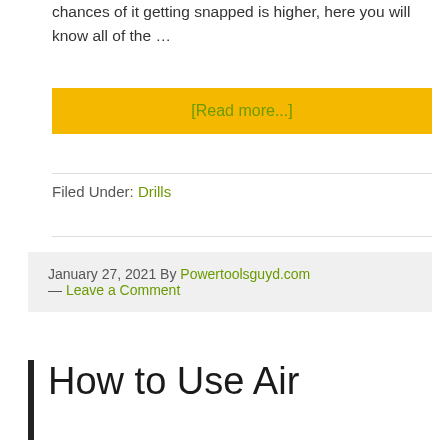chances of it getting snapped is higher, here you will know all of the …
[Read more...]
Filed Under: Drills
January 27, 2021 By Powertoolsguyd.com — Leave a Comment
How to Use Air